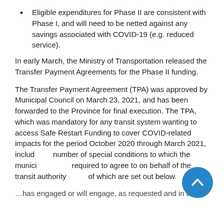Eligible expenditures for Phase II are consistent with Phase I, and will need to be netted against any savings associated with COVID-19 (e.g. reduced service).
In early March, the Ministry of Transportation released the Transfer Payment Agreements for the Phase II funding.
The Transfer Payment Agreement (TPA) was approved by Municipal Council on March 23, 2021, and has been forwarded to the Province for final execution. The TPA, which was mandatory for any transit system wanting to access Safe Restart Funding to cover COVID-related impacts for the period October 2020 through March 2021, included a number of special conditions to which the municipality was required to agree to on behalf of the transit authority, each of which are set out below.
…has engaged or will engage, as requested and in a…